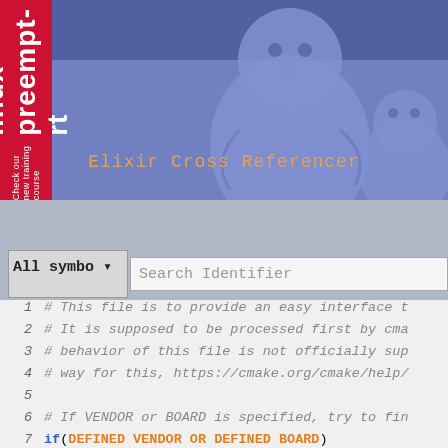[Figure (screenshot): Elixir Cross Referencer website header with two Tux (Linux penguin) mascots on a blue-purple background, with a red sidebar label reading 'linux preempt-rt / Check our new training course']
Elixir Cross Referencer
[Figure (screenshot): Search bar UI with 'All symbo' dropdown and 'Search Identifier' input field]
1    # This file is to provide an easy interface t
2    # It is supposed to be processed first by cma
3    # behavior of this file is not officially sup
4    # way for this, https://cmake.org/cmake/help/
5
6    # If VENDOR or BOARD is specified, try to fin
7    if(DEFINED VENDOR OR DEFINED BOARD)
8       include("${CMAKE_CURRENT_LIST_DIR}/${...